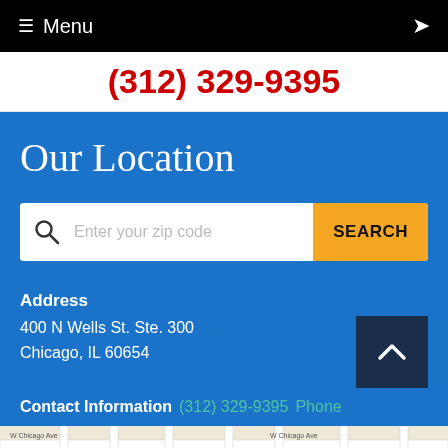≡ Menu
(312) 329-9395
Our Location
Enter your zip code  SEARCH
Address
400 N Wells St. Ste. 300
Chicago, IL 60654
Contact Information  (312) 329-9395  Phone
[Figure (map): Street map showing W Chicago Ave area in Chicago with map pin marker]